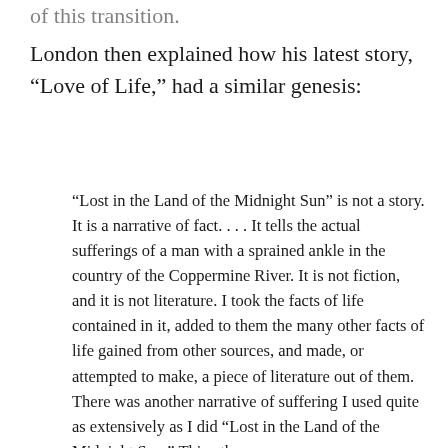London then explained how his latest story, “Love of Life,” had a similar genesis:
“Lost in the Land of the Midnight Sun” is not a story. It is a narrative of fact. . . . It tells the actual sufferings of a man with a sprained ankle in the country of the Coppermine River. It is not fiction, and it is not literature. I took the facts of life contained in it, added to them the many other facts of life gained from other sources, and made, or attempted to make, a piece of literature out of them. There was another narrative of suffering I used quite as extensively as I did “Lost in the Land of the Midnight Sun.” This other